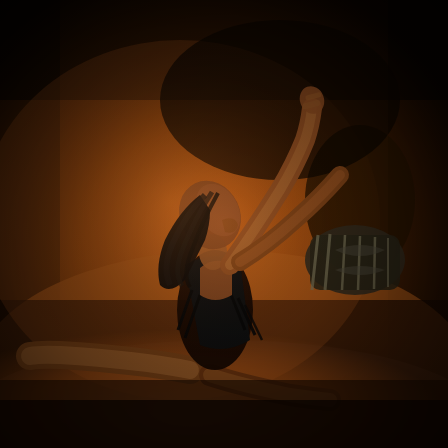[Figure (photo): A dancer performing on sandy ground at night under warm orange/amber lighting. The dancer, wearing a black fringed outfit, is in a dramatic split position on the ground with their upper body arched backward and one arm raised high. Their long dark hair fans out behind them. In the background are other people and what appears to be a striped cylindrical cushion or pillow. The overall scene has a warm, dark, atmospheric quality.]